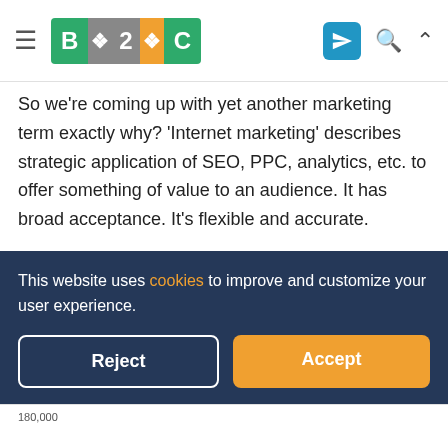[Figure (logo): B2C logo with puzzle piece styling and navigation icons]
So we're coming up with yet another marketing term exactly why? 'Internet marketing' describes strategic application of SEO, PPC, analytics, etc. to offer something of value to an audience. It has broad acceptance. It's flexible and accurate.
You could argue that 'inbound' marketing is strictly permission-based, not interruption-based, stuff. I'd answer by saying there's 'good' internet marketing and 'stupid' internet marketing. Popups, adware and
This website uses cookies to improve and customize your user experience.
[Figure (other): Cookie consent banner with Reject and Accept buttons]